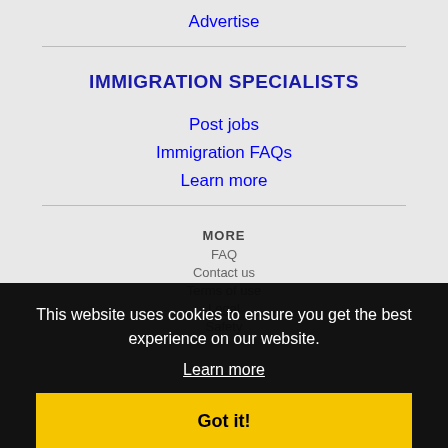Advertise
IMMIGRATION SPECIALISTS
Post jobs
Immigration FAQs
Learn more
MORE
This website uses cookies to ensure you get the best experience on our website.
Learn more
Got it!
NEARBY CITIES